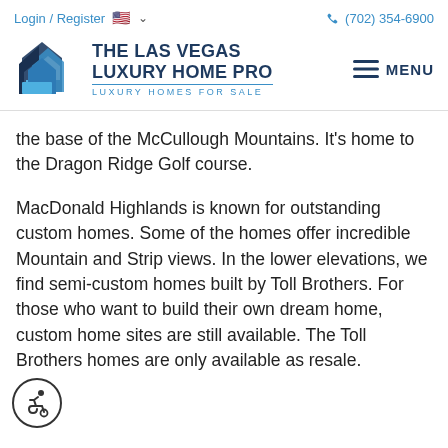Login / Register  🇺🇸 ∨    (702) 354-6900
[Figure (logo): The Las Vegas Luxury Home Pro logo with blue house/arrow icon and text 'THE LAS VEGAS LUXURY HOME PRO / LUXURY HOMES FOR SALE']
the base of the McCullough Mountains. It's home to the Dragon Ridge Golf course.
MacDonald Highlands is known for outstanding custom homes. Some of the homes offer incredible Mountain and Strip views. In the lower elevations, we find semi-custom homes built by Toll Brothers. For those who want to build their own dream home, custom home sites are still available. The Toll Brothers homes are only available as resale.